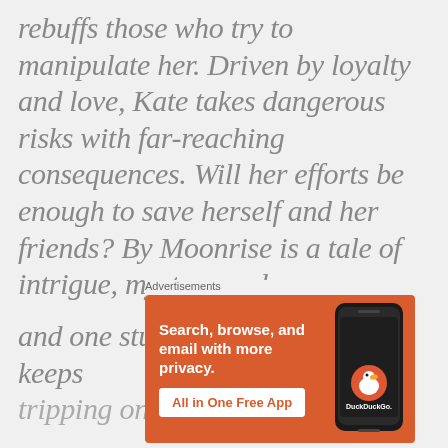rebuffs those who try to manipulate her. Driven by loyalty and love, Kate takes dangerous risks with far-reaching consequences. Will her efforts be enough to save herself and her friends? By Moonrise is a tale of intrigue, mystery and romance...
and one stubborn woman who keeps tripping on the hem of her dress
[Figure (other): DuckDuckGo advertisement banner: orange background with text 'Search, browse, and email with more privacy. All in One Free App' alongside a smartphone showing the DuckDuckGo app and logo.]